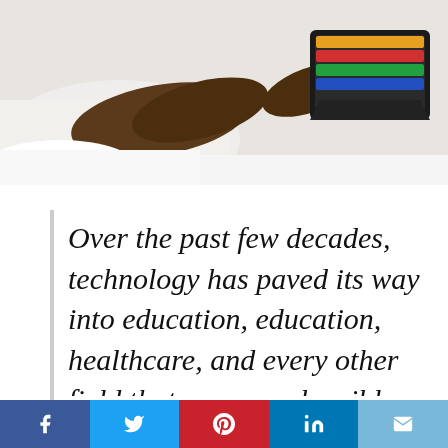[Figure (photo): Hands near a tablet device on a desk, person in white shirt using a tablet with a colorful keyboard case]
Over the past few decades, technology has paved its way into education, education, healthcare, and every other field that you can plausibly think of. The world of marketing
[Figure (infographic): Social media share bar with Facebook, Twitter, Pinterest, LinkedIn, and Email buttons]